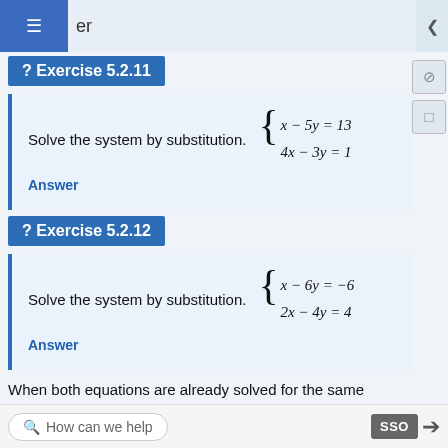≡  er
? Exercise 5.2.11
Solve the system by substitution.
Answer
? Exercise 5.2.12
Solve the system by substitution.
Answer
When both equations are already solved for the same
How can we help  SSO